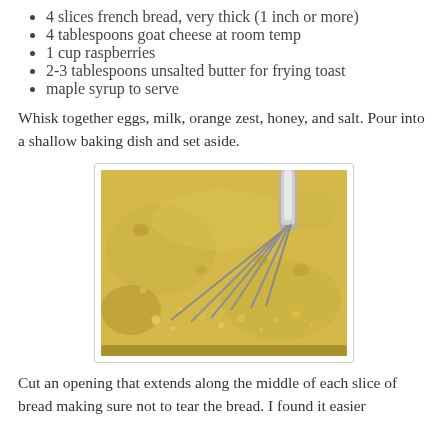4 slices french bread, very thick (1 inch or more)
4 tablespoons goat cheese at room temp
1 cup raspberries
2-3 tablespoons unsalted butter for frying toast
maple syrup to serve
Whisk together eggs, milk, orange zest, honey, and salt. Pour into a shallow baking dish and set aside.
[Figure (photo): A stainless steel whisk in a shallow bowl filled with a yellow egg and milk mixture, with bubbles visible on the surface.]
Cut an opening that extends along the middle of each slice of bread making sure not to tear the bread. I found it easier